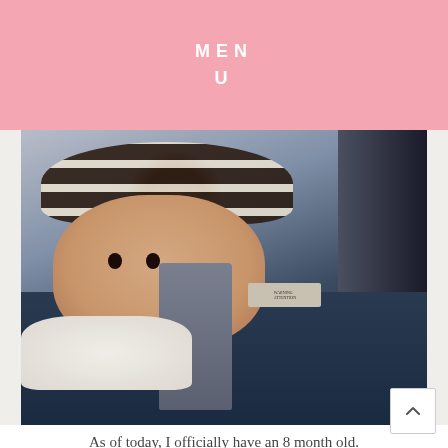MENU
[Figure (photo): A smiling baby wearing a black and white striped knit hat, sitting in a dark car seat/stroller, wearing a white puffy jacket. The baby has big expressive eyes and is looking at the camera.]
As of today, I officially have an 8 month old. Oh my goodness little one you grow wayy too fast!!!
If you follow me on IG you will know that we took a little road trip this weekend for Ryan to meet his great